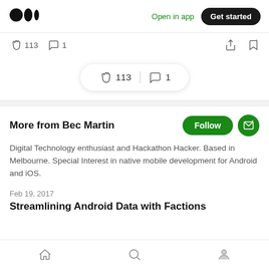[Figure (logo): Medium logo (three dots)]
Open in app
Get started
113
1
113
1
More from Bec Martin
Follow
Digital Technology enthusiast and Hackathon Hacker. Based in Melbourne. Special Interest in native mobile development for Android and iOS.
Feb 19, 2017
Streamlining Android Data with Factions